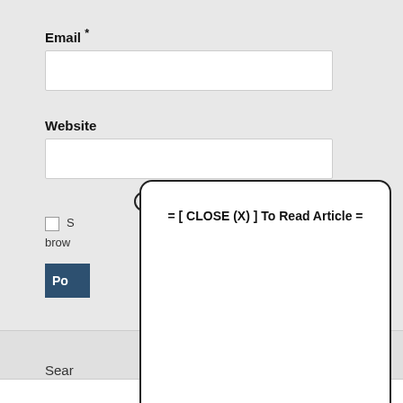Email *
[Figure (screenshot): Empty email text input field]
Website
[Figure (screenshot): Empty website text input field]
[Figure (screenshot): Close (X) icon button circle]
S
brow
Po
[Figure (screenshot): Modal popup dialog with text: = [ CLOSE (X) ] To Read Article =]
Sear